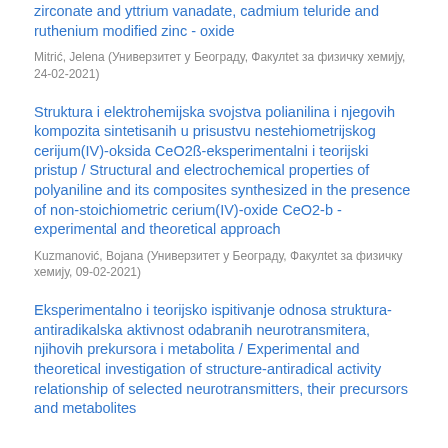zirconate and yttrium vanadate, cadmium teluride and ruthenium modified zinc - oxide
Mitrić, Jelena (Универзитет у Београду, Факулtet за физичку хемију, 24-02-2021)
Struktura i elektrohemijska svojstva polianilina i njegovih kompozita sintetisanih u prisustvu nestehiometrijskog cerijum(IV)-oksida CeO2ß-eksperimentalni i teorijski pristup / Structural and electrochemical properties of polyaniline and its composites synthesized in the presence of non-stoichiometric cerium(IV)-oxide CeO2-b - experimental and theoretical approach
Kuzmanović, Bojana (Универзитет у Београду, Факулtet за физичку хемију, 09-02-2021)
Eksperimentalno i teorijsko ispitivanje odnosa struktura-antiradikalska aktivnost odabranih neurotransmitera, njihovih prekursora i metabolita / Experimental and theoretical investigation of structure-antiradical activity relationship of selected neurotransmitters, their precursors and metabolites